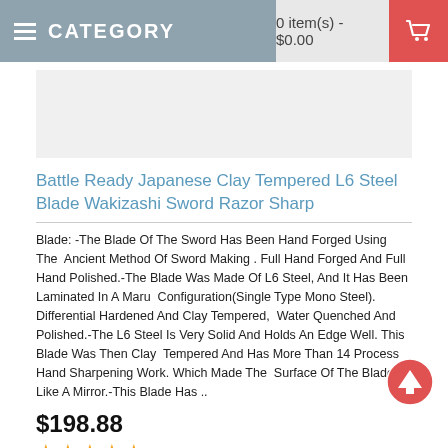CATEGORY   0 item(s) - $0.00
[Figure (photo): Product image area (blank/white placeholder for sword product)]
Battle Ready Japanese Clay Tempered L6 Steel Blade Wakizashi Sword Razor Sharp
Blade: -The Blade Of The Sword Has Been Hand Forged Using The  Ancient Method Of Sword Making . Full Hand Forged And Full Hand Polished.-The Blade Was Made Of L6 Steel, And It Has Been Laminated In A Maru  Configuration(Single Type Mono Steel). Differential Hardened And Clay Tempered,  Water Quenched And Polished.-The L6 Steel Is Very Solid And Holds An Edge Well. This Blade Was Then Clay  Tempered And Has More Than 14 Process Hand Sharpening Work. Which Made The  Surface Of The Blade Like A Mirror.-This Blade Has ..
$198.88